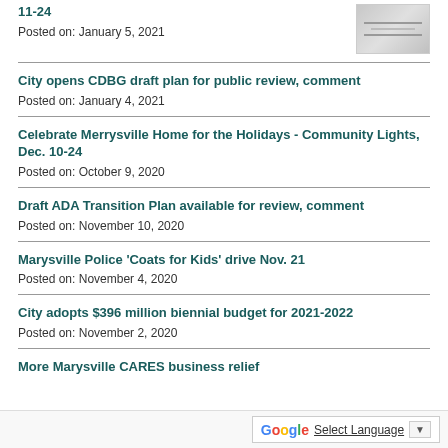11-24
Posted on: January 5, 2021
City opens CDBG draft plan for public review, comment
Posted on: January 4, 2021
Celebrate Merrysville Home for the Holidays - Community Lights, Dec. 10-24
Posted on: October 9, 2020
Draft ADA Transition Plan available for review, comment
Posted on: November 10, 2020
Marysville Police 'Coats for Kids' drive Nov. 21
Posted on: November 4, 2020
City adopts $396 million biennial budget for 2021-2022
Posted on: November 2, 2020
More Marysville CARES business relief